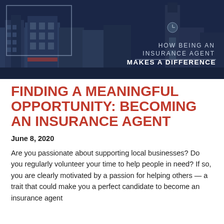[Figure (photo): Dark blue-tinted photo of a small town main street with brick buildings and a clock tower. Overlaid text reads 'HOW BEING AN INSURANCE AGENT MAKES A DIFFERENCE' in white/light text on the right side. A thin rectangular border outline appears on the left side of the image.]
FINDING A MEANINGFUL OPPORTUNITY: BECOMING AN INSURANCE AGENT
June 8, 2020
Are you passionate about supporting local businesses? Do you regularly volunteer your time to help people in need? If so, you are clearly motivated by a passion for helping others — a trait that could make you a perfect candidate to become an insurance agent